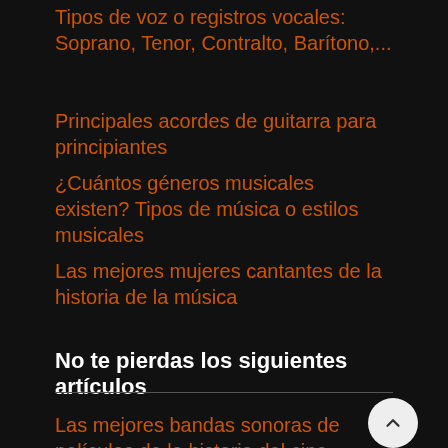Tipos de voz o registros vocales: Soprano, Tenor, Contralto, Barítono,...
Principales acordes de guitarra para principiantes
¿Cuántos géneros musicales existen? Tipos de música o estilos musicales
Las mejores mujeres cantantes de la historia de la música
No te pierdas los siguientes artículos
Las mejores bandas sonoras de películas de la historia del cine